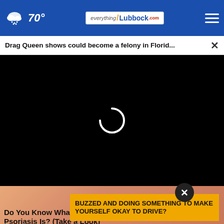70° everything/Lubbock.com
Drag Queen shows could become a felony in Florid...
[Figure (screenshot): Black video player area with a loading spinner (white arc circle) in the center, indicating a video is loading]
[Figure (screenshot): Partial view of skin showing psoriasis condition (pinkish-tan skin texture)]
Do You Know What Plaque Psoriasis Is? (Take a Look)
BUZZED AND DOING SOMETHING TO MAKE YOURSELF OKAY TO DRIVE?
Plaque Psoriasis Treatment | S...